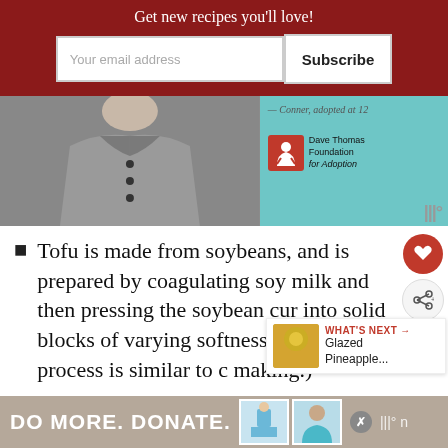Get new recipes you'll love!
[Figure (screenshot): Advertisement: Dave Thomas Foundation for Adoption. Shows a young man in a grey shirt. Quote '— Conner, adopted at 12'. Logo with red square and human figure icon. Text: Dave Thomas Foundation for Adoption.]
Tofu is made from soybeans, and is prepared by coagulating soy milk and then pressing the soybean curd into solid blocks of varying softness. (This process is similar to cheese making.)
[Figure (screenshot): Bottom advertisement banner: DO MORE. DONATE. with images and Weightwatchers logo.]